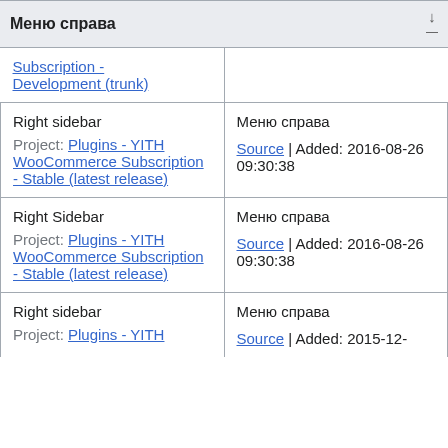Меню справа
|  |  |
| --- | --- |
| Subscription - Development (trunk) |  |
| Right sidebar

Project: Plugins - YITH WooCommerce Subscription - Stable (latest release) | Меню справа

Source | Added: 2016-08-26 09:30:38 |
| Right Sidebar

Project: Plugins - YITH WooCommerce Subscription - Stable (latest release) | Меню справа

Source | Added: 2016-08-26 09:30:38 |
| Right sidebar

Project: Plugins - YITH | Меню справа

Source | Added: 2015-12- |